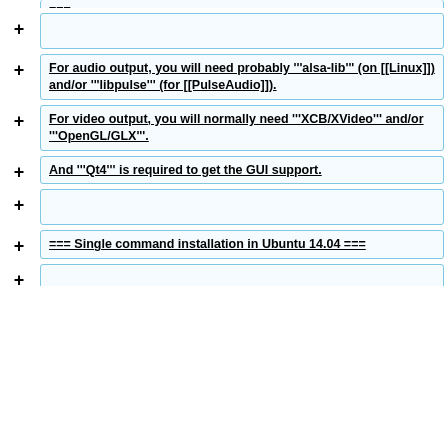For audio output, you will need probably '''alsa-lib''' (on [[Linux]]) and/or '''libpulse''' (for [[PulseAudio]]).
For video output, you will normally need '''XCB/XVideo''' and/or '''OpenGL/GLX'''.
And '''Qt4''' is required to get the GUI support.
=== Single command installation in Ubuntu 14.04 ===